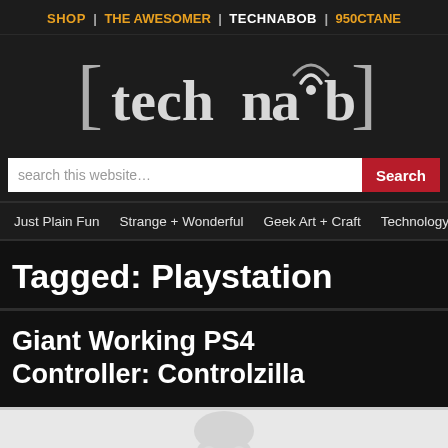SHOP | THE AWESOMER | TECHNABOB | 950CTANE
[Figure (logo): Technabob logo in square bracket style with wireless signal icon in the letters]
search this website…
Just Plain Fun | Strange + Wonderful | Geek Art + Craft | Technology | Video
Tagged: Playstation
Giant Working PS4 Controller: Controlzilla